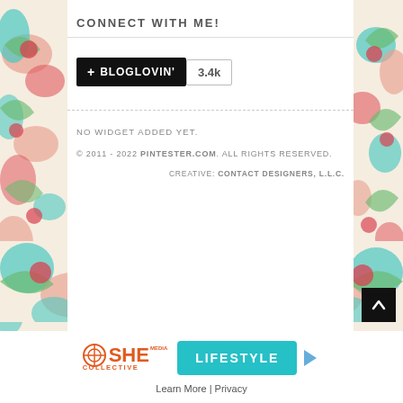CONNECT WITH ME!
[Figure (logo): Bloglovin button showing +BLOGLOVIN' with follower count 3.4k]
NO WIDGET ADDED YET.
© 2011 - 2022 PINTESTER.COM. ALL RIGHTS RESERVED.
CREATIVE: CONTACT DESIGNERS, L.L.C.
[Figure (logo): SHE Media Collective Lifestyle ad banner with Learn More and Privacy links]